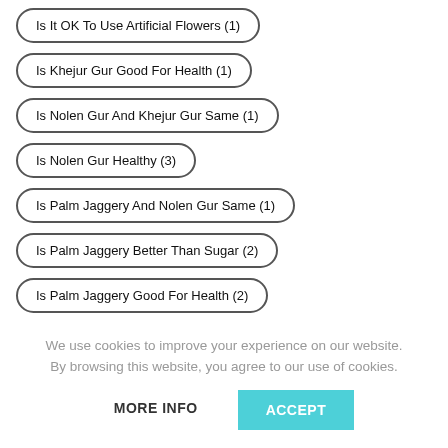Is It OK To Use Artificial Flowers (1)
Is Khejur Gur Good For Health (1)
Is Nolen Gur And Khejur Gur Same (1)
Is Nolen Gur Healthy (3)
Is Palm Jaggery And Nolen Gur Same (1)
Is Palm Jaggery Better Than Sugar (2)
Is Palm Jaggery Good For Health (2)
Is Patali Gur Same As Khejur Gur (1)
We use cookies to improve your experience on our website. By browsing this website, you agree to our use of cookies.
MORE INFO
ACCEPT